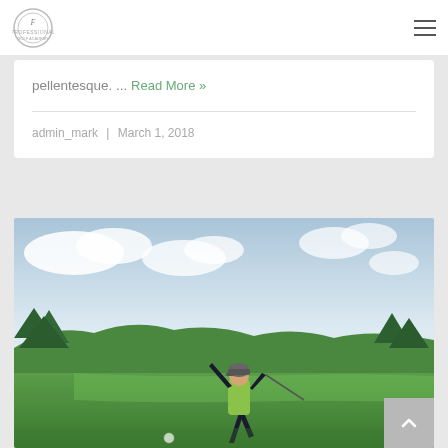Logo and navigation menu
pellentesque. ... Read More »
admin_mark | March 1, 2018
[Figure (photo): Golfer in yellow shirt completing a swing on a golf course with green fairway and cloudy sky background]